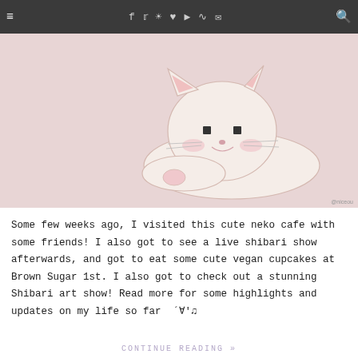Navigation bar with hamburger menu, social icons (f, twitter, instagram, heart, youtube, rss, mail), and search icon
[Figure (illustration): Cute cartoon cat illustration with pink ears, lying down with its paw near its mouth, on a pale pink/rose background. Watermark '@niceou' in bottom right corner.]
Some few weeks ago, I visited this cute neko cafe with some friends! I also got to see a live shibari show afterwards, and got to eat some cute vegan cupcakes at Brown Sugar 1st. I also got to check out a stunning Shibari art show! Read more for some highlights and updates on my life so far  ´∀｀♪
CONTINUE READING »